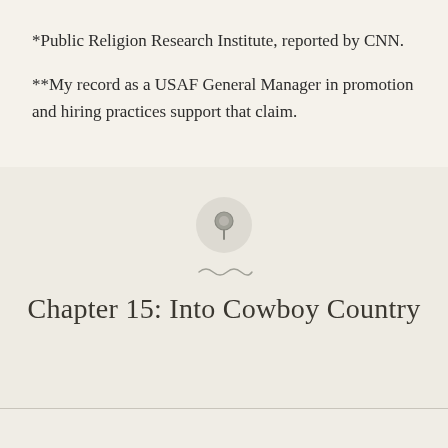*Public Religion Research Institute, reported by CNN.
**My record as a USAF General Manager in promotion and hiring practices support that claim.
[Figure (illustration): A pushpin / thumbtack icon inside a light circular background, used as a decorative chapter separator.]
Chapter 15: Into Cowboy Country